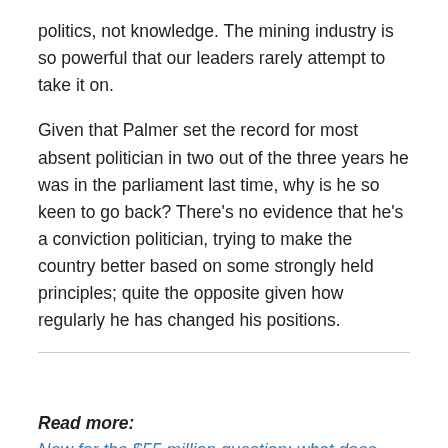politics, not knowledge. The mining industry is so powerful that our leaders rarely attempt to take it on.
Given that Palmer set the record for most absent politician in two out of the three years he was in the parliament last time, why is he so keen to go back? There's no evidence that he's a conviction politician, trying to make the country better based on some strongly held principles; quite the opposite given how regularly he has changed his positions.
Read more: Now for the $55 million question: what does Clive Palmer actually want?